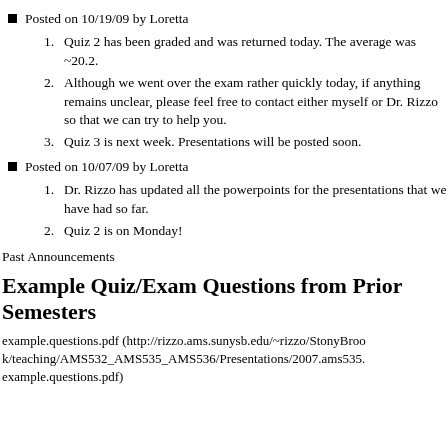Posted on 10/19/09 by Loretta
1. Quiz 2 has been graded and was returned today. The average was ~20.2.
2. Although we went over the exam rather quickly today, if anything remains unclear, please feel free to contact either myself or Dr. Rizzo so that we can try to help you.
3. Quiz 3 is next week. Presentations will be posted soon.
Posted on 10/07/09 by Loretta
1. Dr. Rizzo has updated all the powerpoints for the presentations that we have had so far.
2. Quiz 2 is on Monday!
Past Announcements
Example Quiz/Exam Questions from Prior Semesters
example.questions.pdf (http://rizzo.ams.sunysb.edu/~rizzo/StonyBrook/teaching/AMS532_AMS535_AMS536/Presentations/2007.ams535.example.questions.pdf)